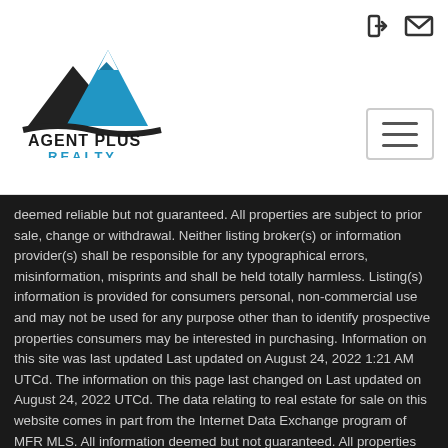Agent Plus Realty — navigation header with logo, login icon, mail icon, and hamburger menu
deemed reliable but not guaranteed. All properties are subject to prior sale, change or withdrawal. Neither listing broker(s) or information provider(s) shall be responsible for any typographical errors, misinformation, misprints and shall be held totally harmless. Listing(s) information is provided for consumers personal, non-commercial use and may not be used for any purpose other than to identify prospective properties consumers may be interested in purchasing. Information on this site was last updated Last updated on August 24, 2022 1:21 AM UTCd. The information on this page last changed on Last updated on August 24, 2022 1:21 AM UTCd. The data relating to real estate for sale on this website comes in part from the Internet Data Exchange program of MFR MLS. All information deemed reliable but not guaranteed. All properties are subject to prior sale, change or withdrawal. Neither listing broker(s) or information provider(s) shall be responsible for any typographical errors, misinformation, misprints and shall be held totally